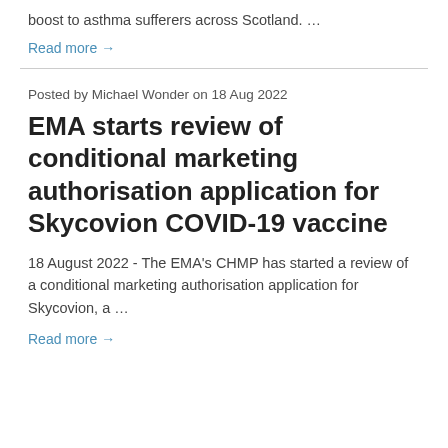boost to asthma sufferers across Scotland. …
Read more →
Posted by Michael Wonder on 18 Aug 2022
EMA starts review of conditional marketing authorisation application for Skycovion COVID-19 vaccine
18 August 2022 - The EMA's CHMP has started a review of a conditional marketing authorisation application for Skycovion, a …
Read more →